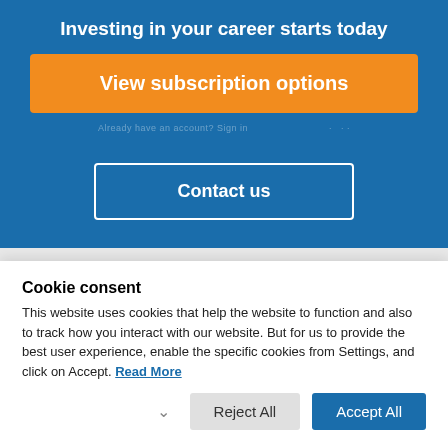Investing in your career starts today
[Figure (other): Orange button labeled 'View subscription options']
Already have an account ... (faded text row)
[Figure (other): White-outlined button labeled 'Contact us' on blue background]
[Figure (logo): Emerald Publishing logo with green bracket icon and 'emerald' text, preceded by 'From' in grey italic]
Cookie consent
This website uses cookies that help the website to function and also to track how you interact with our website. But for us to provide the best user experience, enable the specific cookies from Settings, and click on Accept. Read More
[Figure (other): Cookie consent action buttons: chevron, Reject All, Accept All]